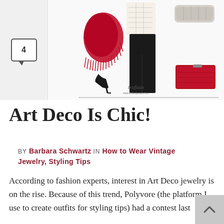[Figure (photo): Fashion collage showing a styled outfit with black wide-leg trousers, white patterned blouse, red fringed scarf, black stiletto heels, a red clutch bag, and a silver bracelet/cuff. Branded 'trufaux' at the bottom.]
Art Deco Is Chic!
BY Barbara Schwartz IN How to Wear Vintage Jewelry, Styling Tips
According to fashion experts, interest in Art Deco jewelry is on the rise. Because of this trend, Polyvore (the platform I use to create outfits for styling tips) had a contest last